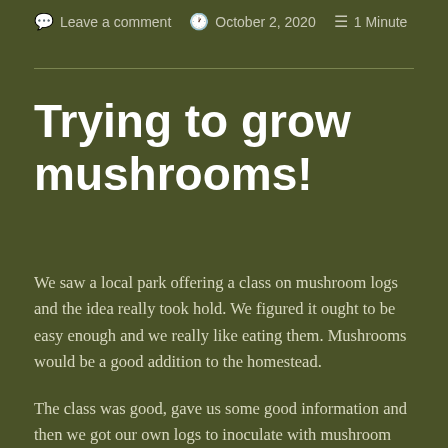Leave a comment   October 2, 2020   1 Minute
Trying to grow mushrooms!
We saw a local park offering a class on mushroom logs and the idea really took hold. We figured it ought to be easy enough and we really like eating them. Mushrooms would be a good addition to the homestead.
The class was good, gave us some good information and then we got our own logs to inoculate with mushroom spore. We learned that hard woods are the best. You drill holes in and place the spore into the openings.